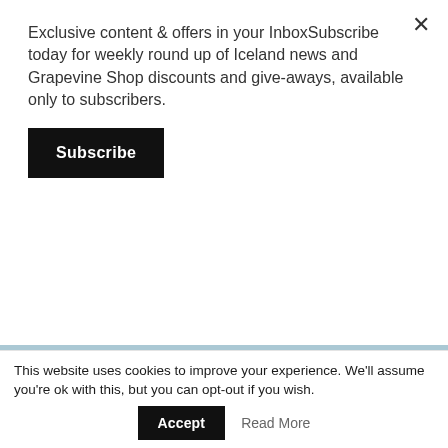Exclusive content & offers in your InboxSubscribe today for weekly round up of Iceland news and Grapevine Shop discounts and give-aways, available only to subscribers.
Subscribe
[Figure (screenshot): Magazine preview thumbnail showing a person's legs standing in water, with a pink text banner overlay, and a light blue navigation bar with section headings: Iceland?, Travels, Iceland, Fill up.]
READ ONLINE
This website uses cookies to improve your experience. We'll assume you're ok with this, but you can opt-out if you wish.
Accept
Read More